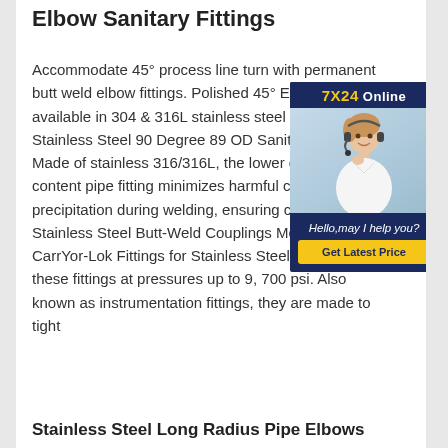Elbow Sanitary Fittings
Accommodate 45° process line turn with permanent butt weld elbow fittings. Polished 45° Elbow is available in 304 & 316L stainless steel alloys. are Stainless Steel 90 Degree 89 OD Sanitary Weld Made of stainless 316/316L, the lower carbon content pipe fitting minimizes harmful carbide precipitation during welding, ensuring corrosion Stainless Steel Butt-Weld Couplings McMaster-CarrYor-Lok Fittings for Stainless Steel Tubing. Use these fittings at pressures up to 9, 700 psi. Also known as instrumentation fittings, they are made to tight
[Figure (photo): Customer service representative with headset, 7X24 Online chat widget with 'Hello, may I help you?' message and 'Get Latest Price' button]
Stainless Steel Long Radius Pipe Elbows